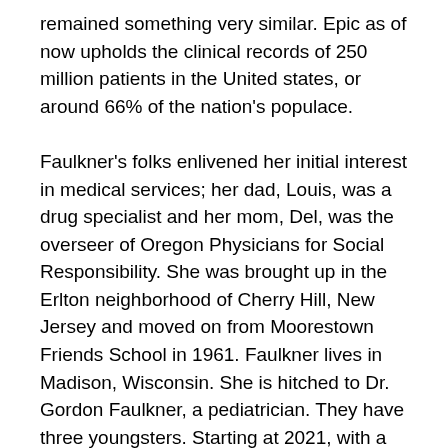remained something very similar. Epic as of now upholds the clinical records of 250 million patients in the United states, or around 66% of the nation's populace.
Faulkner's folks enlivened her initial interest in medical services; her dad, Louis, was a drug specialist and her mom, Del, was the overseer of Oregon Physicians for Social Responsibility. She was brought up in the Erlton neighborhood of Cherry Hill, New Jersey and moved on from Moorestown Friends School in 1961. Faulkner lives in Madison, Wisconsin. She is hitched to Dr. Gordon Faulkner, a pediatrician. They have three youngsters. Starting at 2021, with a couple of more years until Faulkner turns 80 years of age, she has said that she has no designs to resign. There has been no naming of a replacement and none of her three youngsters work at Epic. Faulkner chose to part her stock into casting a ballot shares so they couldn't be sold, and they have gone into a trust that is constrained